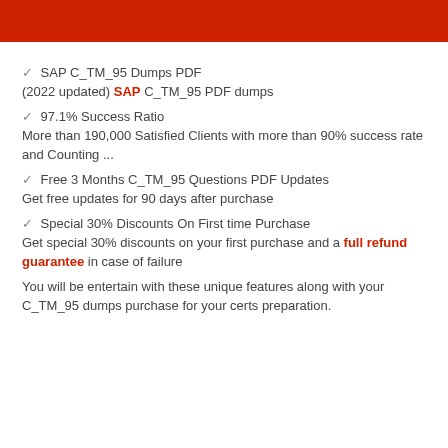[Figure (other): Red header bar at top of page]
✓ SAP C_TM_95 Dumps PDF
(2022 updated) SAP C_TM_95 PDF dumps
✓ 97.1% Success Ratio
More than 190,000 Satisfied Clients with more than 90% success rate and Counting ...
✓ Free 3 Months C_TM_95 Questions PDF Updates
Get free updates for 90 days after purchase
✓ Special 30% Discounts On First time Purchase
Get special 30% discounts on your first purchase and a full refund guarantee in case of failure
You will be entertain with these unique features along with your C_TM_95 dumps purchase for your certs preparation.